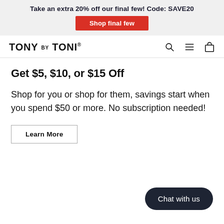Take an extra 20% off our final few! Code: SAVE20
Shop final few
[Figure (logo): TONY BY TONI brand logo with search, hamburger menu, and shopping bag icons]
Get $5, $10, or $15 Off
Shop for you or shop for them, savings start when you spend $50 or more. No subscription needed!
Learn More
Chat with us